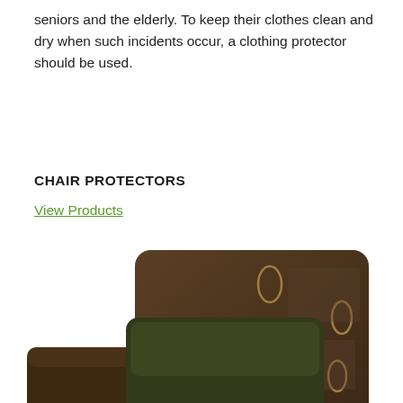seniors and the elderly. To keep their clothes clean and dry when such incidents occur, a clothing protector should be used.
CHAIR PROTECTORS
View Products
[Figure (photo): A brown upholstered armchair with decorative oval pattern fabric on the back and a dark olive green cushion, with a plaid/tartan patterned seat protector on the seat cushion.]